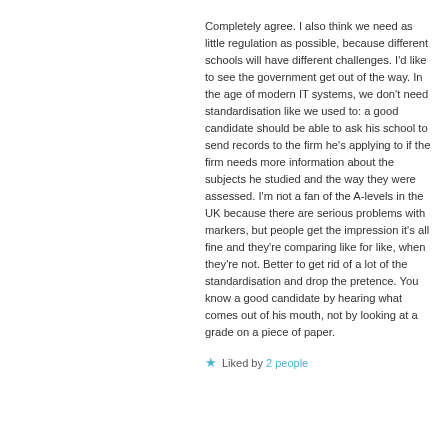Completely agree. I also think we need as little regulation as possible, because different schools will have different challenges. I'd like to see the government get out of the way. In the age of modern IT systems, we don't need standardisation like we used to: a good candidate should be able to ask his school to send records to the firm he's applying to if the firm needs more information about the subjects he studied and the way they were assessed. I'm not a fan of the A-levels in the UK because there are serious problems with markers, but people get the impression it's all fine and they're comparing like for like, when they're not. Better to get rid of a lot of the standardisation and drop the pretence. You know a good candidate by hearing what comes out of his mouth, not by looking at a grade on a piece of paper.
Liked by 2 people